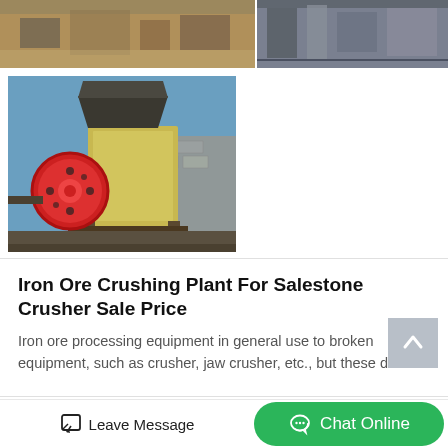[Figure (photo): Top-left photo of industrial stone crushing plant machinery with sandy/earthy tones]
[Figure (photo): Top-right photo of industrial metal crushing/mining equipment with steel framework]
[Figure (photo): Large photo of jaw crusher machine with red circular flywheel cover, yellow body, set against blue sky and stone wall background]
Iron Ore Crushing Plant For Salestone Crusher Sale Price
Iron ore processing equipment in general use to broken equipment, such as crusher, jaw crusher, etc., but these devic…
50 Tph Gold Ore Crushing
Leave Message
Chat Online